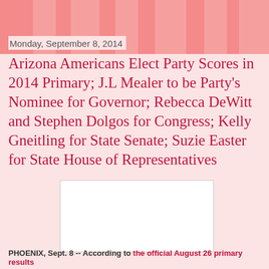Monday, September 8, 2014
Arizona Americans Elect Party Scores in 2014 Primary; J.L Mealer to be Party's Nominee for Governor; Rebecca DeWitt and Stephen Dolgos for Congress; Kelly Gneitling for State Senate; Suzie Easter for State House of Representatives
[Figure (photo): White rectangular image placeholder]
PHOENIX, Sept. 8 -- According to the official August 26 primary results